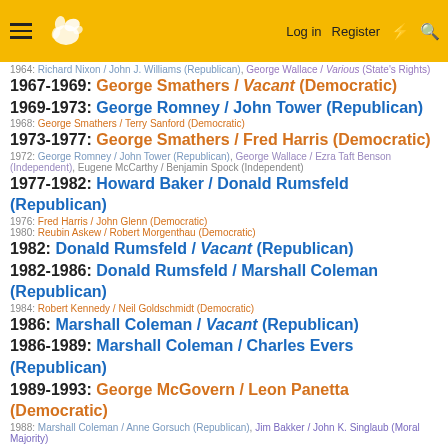Log in | Register
1964: Richard Nixon / John J. Williams (Republican), George Wallace / Various (State's Rights)
1967-1969: George Smathers / Vacant (Democratic)
1969-1973: George Romney / John Tower (Republican)
1968: George Smathers / Terry Sanford (Democratic)
1973-1977: George Smathers / Fred Harris (Democratic)
1972: George Romney / John Tower (Republican), George Wallace / Ezra Taft Benson (Independent), Eugene McCarthy / Benjamin Spock (Independent)
1977-1982: Howard Baker / Donald Rumsfeld (Republican)
1976: Fred Harris / John Glenn (Democratic)
1980: Reubin Askew / Robert Morgenthau (Democratic)
1982: Donald Rumsfeld / Vacant (Republican)
1982-1986: Donald Rumsfeld / Marshall Coleman (Republican)
1984: Robert Kennedy / Neil Goldschmidt (Democratic)
1986: Marshall Coleman / Vacant (Republican)
1986-1989: Marshall Coleman / Charles Evers (Republican)
1989-1993: George McGovern / Leon Panetta (Democratic)
1988: Marshall Coleman / Anne Gorsuch (Republican), Jim Bakker / John K. Singlaub (Moral Majority)
1993-2001: Jim Webb / Larry McDonald (Republican)
1992: Leon Panetta / Mike Espy (Democratic), LaDonna Harris / Ralph Nader (Independent)
1996: Jim Mattox / Booth Gardner (Democratic), Jim Hightower / Karen Silkwood (Peace and Freedom)
2001-: Kathleen Kennedy Townsend / Max Baucus (Democratic)
2000: Carroll Campbell / Clarence Thomas (Republican), Rosie Castro / Karen Silkwood (Peace and Freedom)